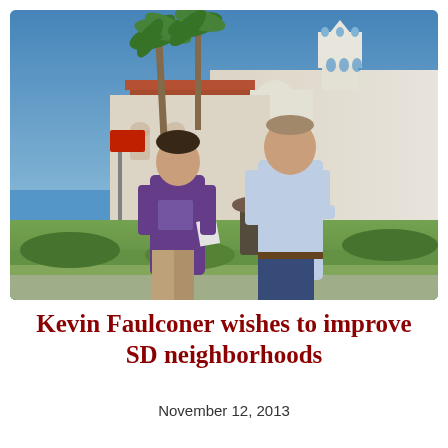[Figure (photo): Two men standing outdoors in front of a white Spanish Mission-style building with a bell tower, palm trees in the background. The younger man on the left wears a purple t-shirt and holds papers; the taller older man on the right wears a light blue dress shirt and jeans with hands on hips.]
Kevin Faulconer wishes to improve SD neighborhoods
November 12, 2013